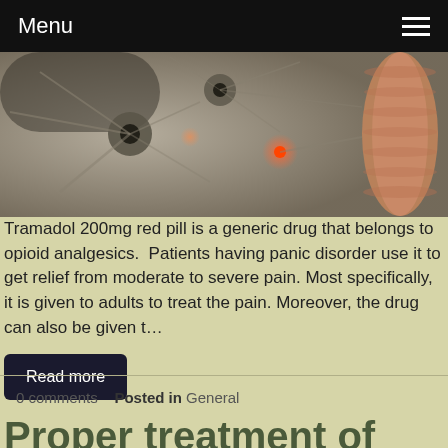Menu
[Figure (photo): Close-up illustration of neural cells/neurons with glowing synaptic connections on a dark background, with a nerve fiber visible on the right side.]
Tramadol 200mg red pill is a generic drug that belongs to opioid analgesics.  Patients having panic disorder use it to get relief from moderate to severe pain. Most specifically, it is given to adults to treat the pain. Moreover, the drug can also be given t…
Read more
0 comments   Posted in General
Proper treatment of anxiety&panic disorder